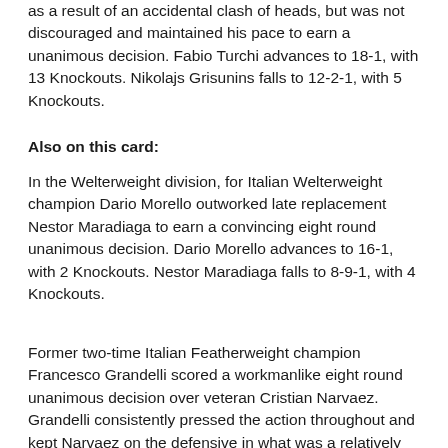as a result of an accidental clash of heads, but was not discouraged and maintained his pace to earn a unanimous decision. Fabio Turchi advances to 18-1, with 13 Knockouts. Nikolajs Grisunins falls to 12-2-1, with 5 Knockouts.
Also on this card:
In the Welterweight division, for Italian Welterweight champion Dario Morello outworked late replacement Nestor Maradiaga to earn a convincing eight round unanimous decision. Dario Morello advances to 16-1, with 2 Knockouts. Nestor Maradiaga falls to 8-9-1, with 4 Knockouts.
Former two-time Italian Featherweight champion Francesco Grandelli scored a workmanlike eight round unanimous decision over veteran Cristian Narvaez. Grandelli consistently pressed the action throughout and kept Narvaez on the defensive in what was a relatively uneventful and formulaic bout. Francesco Grandelli advances to 14-1-1, with 2 Knockouts. Cristian Narvaez falls to 16-23-5, with 1 Knockout.